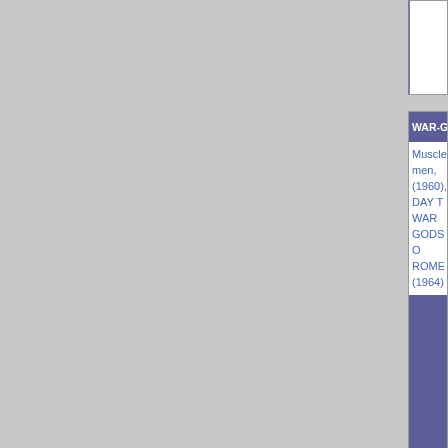WAR-GODS COLLECTION (4 DVDs/8 D...
Muscle men, (1960), DAY T... WAR GODS O... ROME (1964)...
WAR-GODS OF THE DEEP (1965/Kino...
Stars Vincent... Vincent Price... Susan Hart is... off to the resc...